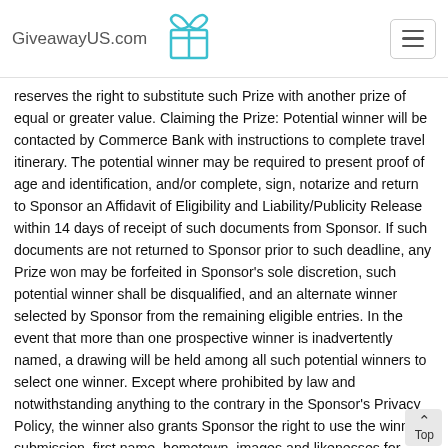GiveawayUS.com
reserves the right to substitute such Prize with another prize of equal or greater value. Claiming the Prize: Potential winner will be contacted by Commerce Bank with instructions to complete travel itinerary. The potential winner may be required to present proof of age and identification, and/or complete, sign, notarize and return to Sponsor an Affidavit of Eligibility and Liability/Publicity Release within 14 days of receipt of such documents from Sponsor. If such documents are not returned to Sponsor prior to such deadline, any Prize won may be forfeited in Sponsor's sole discretion, such potential winner shall be disqualified, and an alternate winner selected by Sponsor from the remaining eligible entries. In the event that more than one prospective winner is inadvertently named, a drawing will be held among all such potential winners to select one winner. Except where prohibited by law and notwithstanding anything to the contrary in the Sponsor's Privacy Policy, the winner also grants Sponsor the right to use the winner's submission, first name, hometown, images and likenesses for advertising, publicity and promotion purposes, including print, broadcast and on-line announcements, without further compensation than the said Prize and at no expense to the winner. Odds: The odds of winning the Prize will depend on number of entries. The actual odds of winning the Prize depend upon the total number of eligible entries received. Taxes: The winner is responsible for all applicable local, state and federal